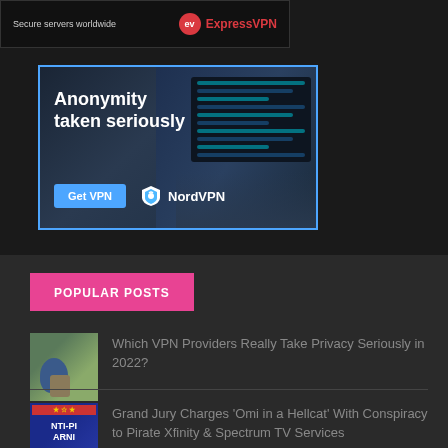[Figure (screenshot): ExpressVPN advertisement banner with dark background, 'Secure servers worldwide' text and ExpressVPN red logo]
[Figure (screenshot): NordVPN advertisement with blue border, dark background with laptop image, 'Anonymity taken seriously' headline, 'Get VPN' blue button, and NordVPN logo]
POPULAR POSTS
[Figure (photo): Thumbnail image of a bird perched near a lock/camera on a stone wall]
Which VPN Providers Really Take Privacy Seriously in 2022?
[Figure (illustration): Thumbnail image with anti-piracy warning logo showing NTI-PI and ARNI text with stars]
Grand Jury Charges 'Omi in a Hellcat' With Conspiracy to Pirate Xfinity & Spectrum TV Services